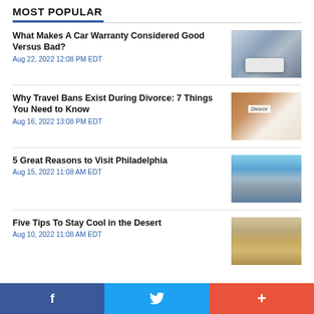MOST POPULAR
What Makes A Car Warranty Considered Good Versus Bad?
Aug 22, 2022 12:08 PM EDT
[Figure (photo): Car in auto repair garage on lift]
Why Travel Bans Exist During Divorce: 7 Things You Need to Know
Aug 16, 2022 13:08 PM EDT
[Figure (photo): Divorce document paper on wooden table]
5 Great Reasons to Visit Philadelphia
Aug 15, 2022 11:08 AM EDT
[Figure (photo): Philadelphia city skyline with river]
Five Tips To Stay Cool in the Desert
Aug 10, 2022 11:08 AM EDT
[Figure (photo): Desert landscape with ancient ruins]